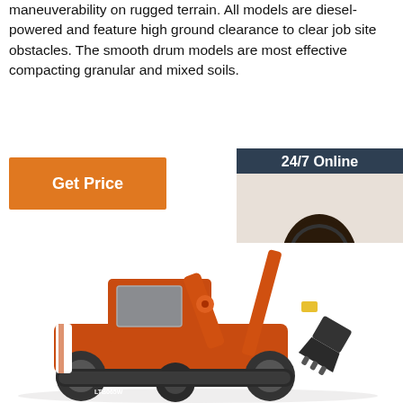maneuverability on rugged terrain. All models are diesel-powered and feature high ground clearance to clear job site obstacles. The smooth drum models are most effective compacting granular and mixed soils.
[Figure (other): Orange 'Get Price' button]
[Figure (other): 24/7 Online chat widget with photo of female customer service representative wearing headset, 'Click here for free chat!' text, and orange QUOTATION button]
[Figure (photo): Orange wheeled excavator (model LTB065W) on white background with extended arm and bucket]